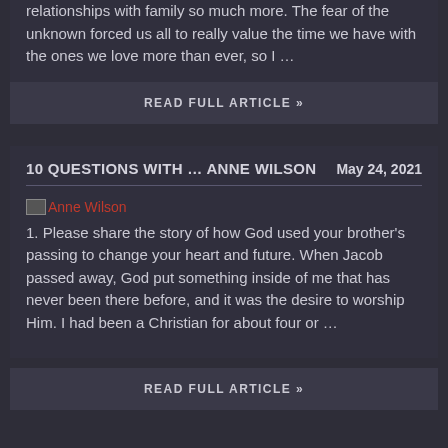relationships with family so much more. The fear of the unknown forced us all to really value the time we have with the ones we love more than ever, so I ...
READ FULL ARTICLE »
10 QUESTIONS WITH … ANNE WILSON
May 24, 2021
[Figure (photo): Anne Wilson thumbnail image link]
1. Please share the story of how God used your brother's passing to change your heart and future. When Jacob passed away, God put something inside of me that has never been there before, and it was the desire to worship Him. I had been a Christian for about four or ...
READ FULL ARTICLE »